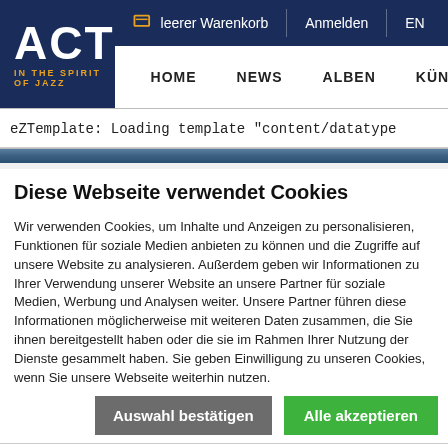ACT - IN THE SPIRIT OF JAZZ | leerer Warenkorb | Anmelden | EN | HOME | NEWS | ALBEN | KÜNS...
eZTemplate: Loading template "content/datatype...
Diese Webseite verwendet Cookies
Wir verwenden Cookies, um Inhalte und Anzeigen zu personalisieren, Funktionen für soziale Medien anbieten zu können und die Zugriffe auf unsere Website zu analysieren. Außerdem geben wir Informationen zu Ihrer Verwendung unserer Website an unsere Partner für soziale Medien, Werbung und Analysen weiter. Unsere Partner führen diese Informationen möglicherweise mit weiteren Daten zusammen, die Sie ihnen bereitgestellt haben oder die sie im Rahmen Ihrer Nutzung der Dienste gesammelt haben. Sie geben Einwilligung zu unseren Cookies, wenn Sie unsere Webseite weiterhin nutzen.
Auswahl bestätigen | Alle akzeptieren
Notwendig | Präferenzen | Statistiken | Marketing | Details zeigen